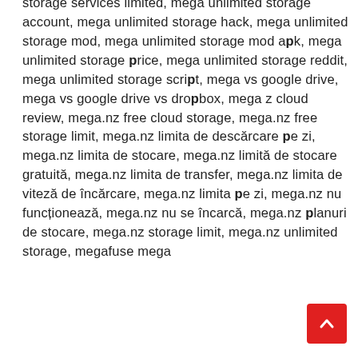storage services limited, mega unlimited storage account, mega unlimited storage hack, mega unlimited storage mod, mega unlimited storage mod apk, mega unlimited storage price, mega unlimited storage reddit, mega unlimited storage script, mega vs google drive, mega vs google drive vs dropbox, mega z cloud review, mega.nz free cloud storage, mega.nz free storage limit, mega.nz limita de descărcare pe zi, mega.nz limita de stocare, mega.nz limită de stocare gratuită, mega.nz limita de transfer, mega.nz limita de viteză de încărcare, mega.nz limita pe zi, mega.nz nu funcționează, mega.nz nu se încarcă, mega.nz planuri de stocare, mega.nz storage limit, mega.nz unlimited storage, megafuse mega